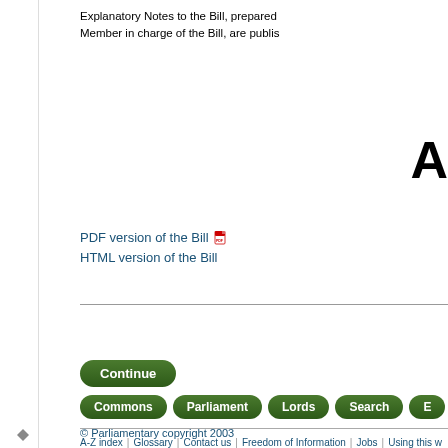Explanatory Notes to the Bill, prepared by the Member in charge of the Bill, are publis...
A
PDF version of the Bill
HTML version of the Bill
[Figure (other): Continue button - green pill-shaped navigation button]
[Figure (other): Navigation buttons: Commons, Parliament, Lords, Search, E...]
© Parliamentary copyright 2003
A-Z index | Glossary | Contact us | Freedom of Information | Jobs | Using this w...